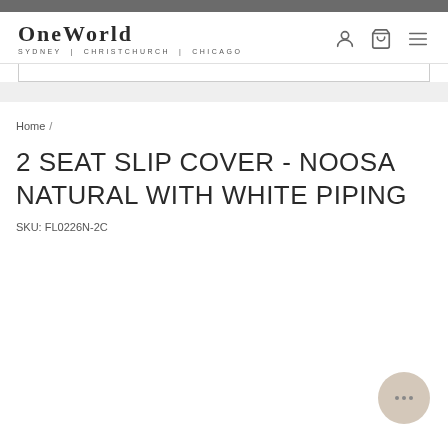OneWorld Sydney | Christchurch | Chicago
Home /
2 SEAT SLIP COVER - NOOSA NATURAL WITH WHITE PIPING
SKU: FL0226N-2C